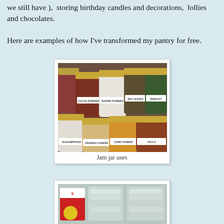we still have ),  storing birthday candles and decorations,  lollies and chocolates.
Here are examples of how I've transformed my pantry for free.
[Figure (photo): Photo of multiple labeled glass jam jars on pantry shelves containing various pantry ingredients: Cocoa Powder, Baking Powder, Bay Leaves, Parsley, Bread Improver, Crushed Cashews, Curry Powder, Taco S(easoning)]
Jam jar uses
[Figure (photo): Photo of stacked clear plastic containers/lids on a shelf]